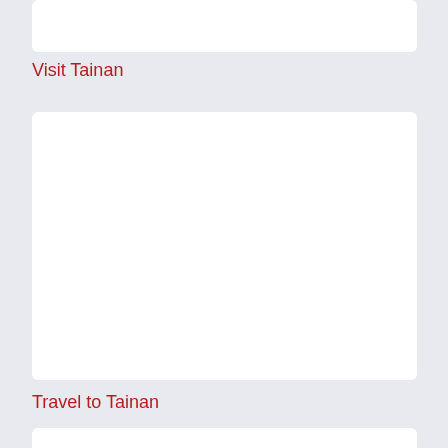[Figure (other): White rectangular content box at top of page]
Visit Tainan
[Figure (other): Large white rectangular content box in middle of page]
Travel to Tainan
[Figure (other): White rectangular content box at bottom of page (partially visible)]